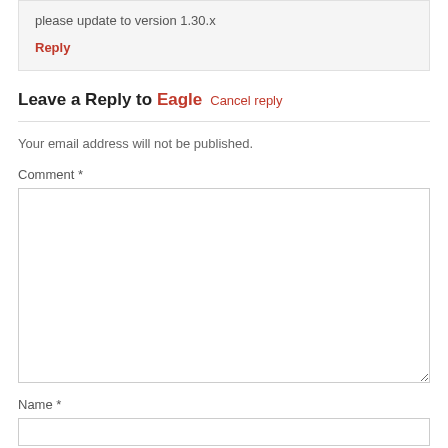please update to version 1.30.x
Reply
Leave a Reply to Eagle Cancel reply
Your email address will not be published.
Comment *
Name *